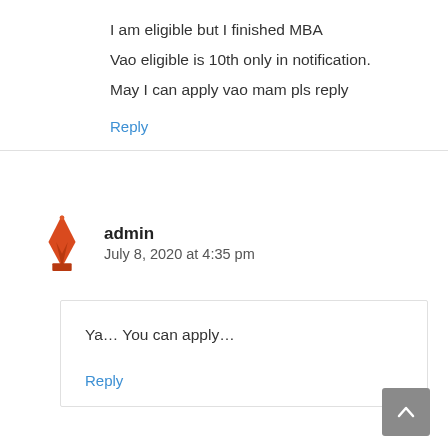I am eligible but I finished MBA
Vao eligible is 10th only in notification.
May I can apply vao mam pls reply
Reply
admin
July 8, 2020 at 4:35 pm
Ya... You can apply...
Reply